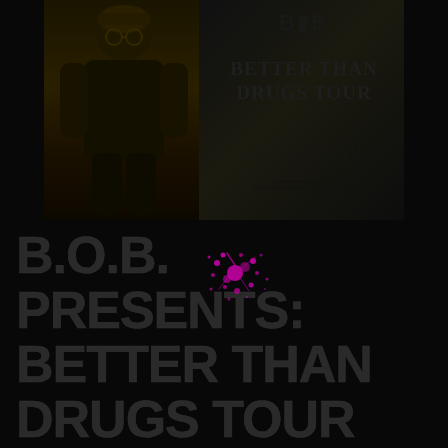[Figure (illustration): Concert poster for B.O.B. presents Better Than Drugs Tour, featuring artist photo on left and colorful tour title text on right, with venue and date information]
B.O.B. PRESENTS: BETTER THAN DRUGS TOUR ON OCT. 13TH AT BELIEVE MUSIC HALL